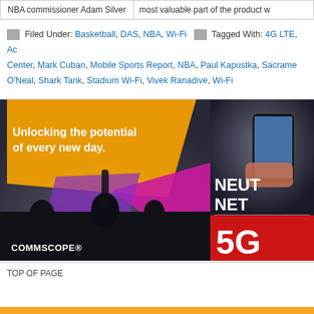NBA commissioner Adam Silver
most valuable part of the product w
Filed Under: Basketball, DAS, NBA, Wi-Fi  Tagged With: 4G LTE, Ac... Center, Mark Cuban, Mobile Sports Report, NBA, Paul Kapustka, Sacrame... O'Neal, Shark Tank, Stadium Wi-Fi, Vivek Ranadive, Wi-Fi
[Figure (photo): CommScope advertisement showing concert crowd with text 'Unlocking the potential of every new day.' and CommScope logo]
[Figure (photo): Advertisement showing person filming with phone at sports arena, text 'NEUT NET' and '5G' in red box]
TOP OF PAGE